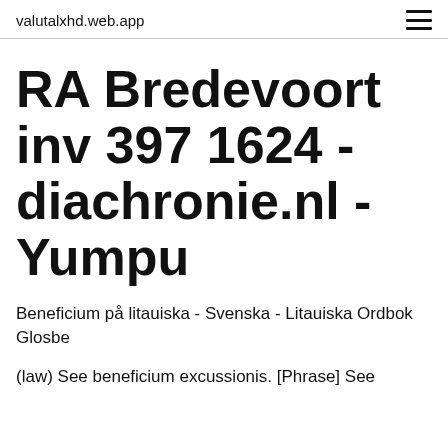valutalxhd.web.app
RA Bredevoort inv 397 1624 - diachronie.nl - Yumpu
Beneficium på litauiska - Svenska - Litauiska Ordbok Glosbe
(law) See beneficium excussionis. [Phrase] See